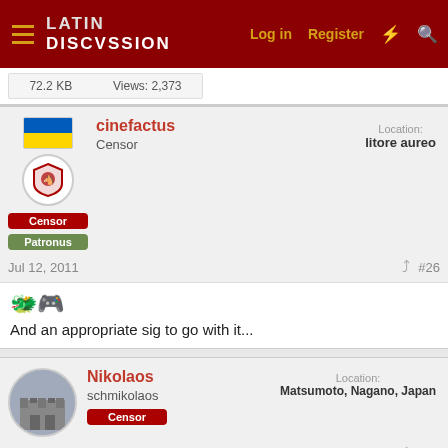LATIN DISCUSSION — Log in | Register
72.2 KB   Views: 2,373
cinefactus
Censor
Location: litore aureo
Censor | Patronus
Jul 12, 2011   #26
And an appropriate sig to go with it...
Nikolaos
schmikolaos
Location: Matsumoto, Nagano, Japan
Censor
Jul 12, 2011   #27